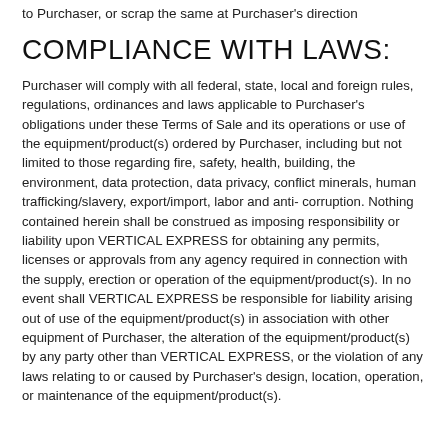to Purchaser, or scrap the same at Purchaser's direction
COMPLIANCE WITH LAWS:
Purchaser will comply with all federal, state, local and foreign rules, regulations, ordinances and laws applicable to Purchaser's obligations under these Terms of Sale and its operations or use of the equipment/product(s) ordered by Purchaser, including but not limited to those regarding fire, safety, health, building, the environment, data protection, data privacy, conflict minerals, human trafficking/slavery, export/import, labor and anti- corruption. Nothing contained herein shall be construed as imposing responsibility or liability upon VERTICAL EXPRESS for obtaining any permits, licenses or approvals from any agency required in connection with the supply, erection or operation of the equipment/product(s). In no event shall VERTICAL EXPRESS be responsible for liability arising out of use of the equipment/product(s) in association with other equipment of Purchaser, the alteration of the equipment/product(s) by any party other than VERTICAL EXPRESS, or the violation of any laws relating to or caused by Purchaser's design, location, operation, or maintenance of the equipment/product(s).